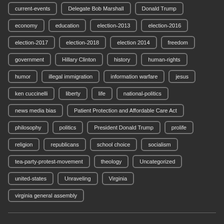current-events
Delegate Bob Marshall
Donald Trump
economy
education
election-2013
election-2016
election-2017
election-2018
election 2014
freedom
government
Hillary Clinton
history
human-rights
humor
illegal immigration
information warfare
jesus
ken cuccinelli
liberty
life
national-politics
news media bias
Patient Protection and Affordable Care Act
philosophy
politics
President Donald Trump
prolife
religion
republicans
school choice
socialism
tea-party-protest-movement
theology
Uncategorized
united-states
Unraveling
Virginia
virginia general assembly